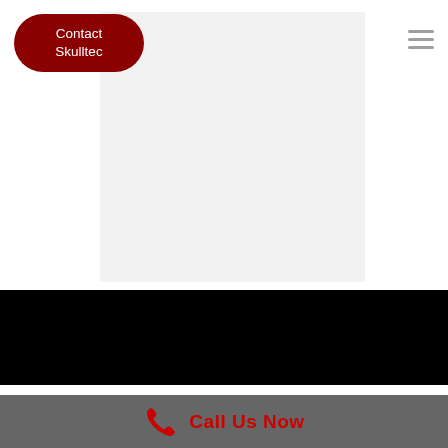[Figure (screenshot): Light gray rectangle placeholder image in the upper center of the page]
Contact Skulltec
[Figure (other): Hamburger menu icon (three horizontal gray lines) in upper right]
[Figure (other): Black banner section]
Call Us Now